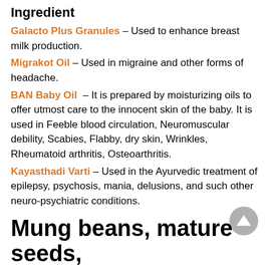Ingredient
Galacto Plus Granules – Used to enhance breast milk production.
Migrakot Oil – Used in migraine and other forms of headache.
BAN Baby Oil – It is prepared by moisturizing oils to offer utmost care to the innocent skin of the baby. It is used in Feeble blood circulation, Neuromuscular debility, Scabies, Flabby, dry skin, Wrinkles, Rheumatoid arthritis, Osteoarthritis.
Kayasthadi Varti – Used in the Ayurvedic treatment of epilepsy, psychosis, mania, delusions, and such other neuro-psychiatric conditions.
Mung beans, mature seeds,